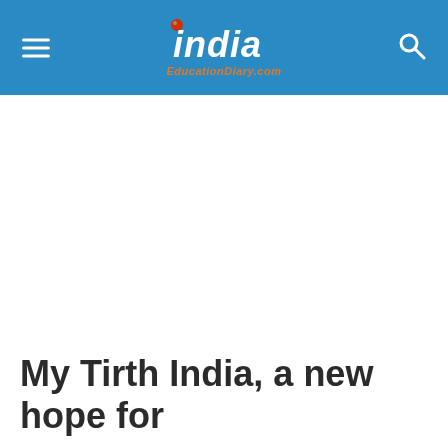India EducationDiary.com
My Tirth India, a new hope for